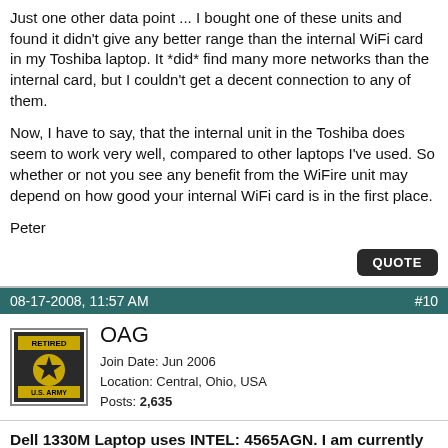Just one other data point ... I bought one of these units and found it didn't give any better range than the internal WiFi card in my Toshiba laptop. It *did* find many more networks than the internal card, but I couldn't get a decent connection to any of them.

Now, I have to say, that the internal unit in the Toshiba does seem to work very well, compared to other laptops I've used. So whether or not you see any benefit from the WiFire unit may depend on how good your internal WiFi card is in the first place.

Peter
QUOTE
08-17-2008, 11:57 AM	#10
[Figure (other): US Army Retired avatar badge with star emblem]
OAG
Join Date: Jun 2006
Location: Central, Ohio, USA
Posts: 2,635
Dell 1330M Laptop uses INTEL: 4565AGN. I am currently sitting at home and can "see" 4 other (total of 5 WiFi locations, including my own). 2 of the other 3 are 4 out of 5 bars. I have a built in "snooper" on the laptop and was really surprised how many "hits" I can get just